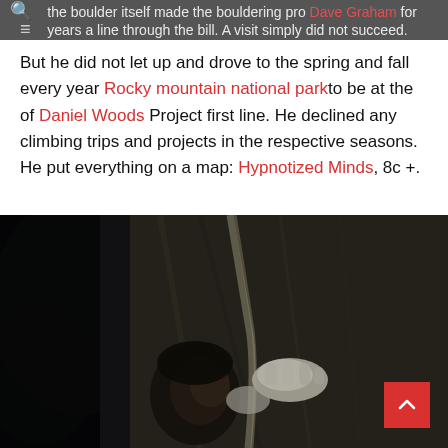the boulder itself made the bouldering pro Dave Graham for years a line through the bill. A visit simply did not succeed.
But he did not let up and drove to the spring and fall every year Rocky mountain national park to be at the of Daniel Woods Project first line. He declined any climbing trips and projects in the respective seasons. He put everything on a map: Hypnotized Minds, 8c +.
[Figure (photo): Close-up photo of a rock climber pressing their face and chalked hands against a dark rock face while bouldering. The image is dark and moody with bokeh background.]